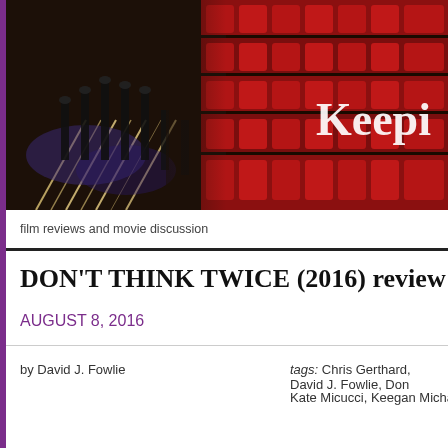[Figure (photo): Banner image of a movie theater with red seats and aisle lights, with the text 'Keepi' visible in white on the right side]
film reviews and movie discussion
DON'T THINK TWICE (2016) review
AUGUST 8, 2016
by David J. Fowlie     tags: Chris Gerthard, David J. Fowlie, Don... Kate Micucci, Keegan Michael Key, Mike Bi...